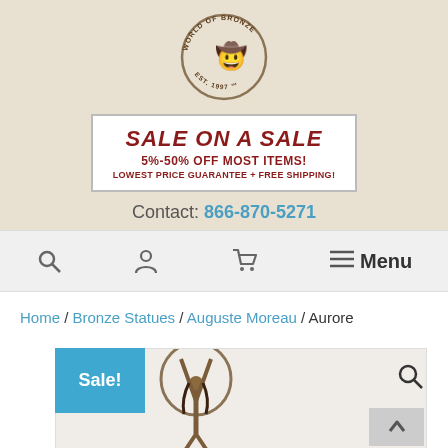[Figure (logo): World of Bronze circular logo with cowboy on bucking horse, Est. 1997 TM]
[Figure (infographic): Sale on a Sale banner: SALE ON A SALE, 5%-50% OFF MOST ITEMS!, LOWEST PRICE GUARANTEE + FREE SHIPPING!]
Contact: 866-870-5271
[Figure (infographic): Navigation bar with search icon, user icon, cart icon, and Menu hamburger button]
Home / Bronze Statues / Auguste Moreau / Aurore
[Figure (photo): Bronze statue of a woman (Aurore) holding a hoop above her head, with Sale! badge in blue, and search/scroll-to-top icons]